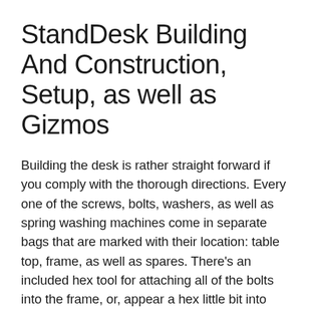StandDesk Building And Construction, Setup, as well as Gizmos
Building the desk is rather straight forward if you comply with the thorough directions. Every one of the screws, bolts, washers, as well as spring washing machines come in separate bags that are marked with their location: table top, frame, as well as spares. There’s an included hex tool for attaching all of the bolts into the frame, or, appear a hex little bit into your power tool– simply be careful not to over-tighten.